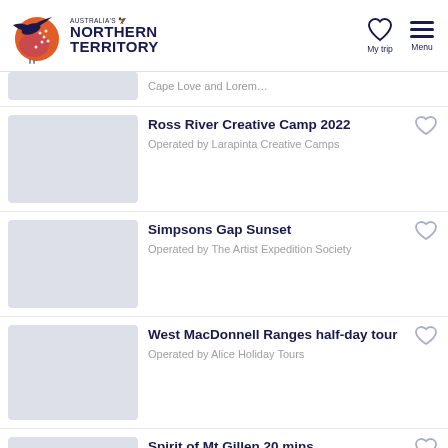Australia's Northern Territory — My trip | Menu
Ross River Creative Camp 2022 — Operated by Larapinta Creative Camps
Simpsons Gap Sunset — Operated by The Artist Expedition Society
West MacDonnell Ranges half-day tour — Operated by Alice Holiday Tours
Spirit of Mt Gillen 20 mins